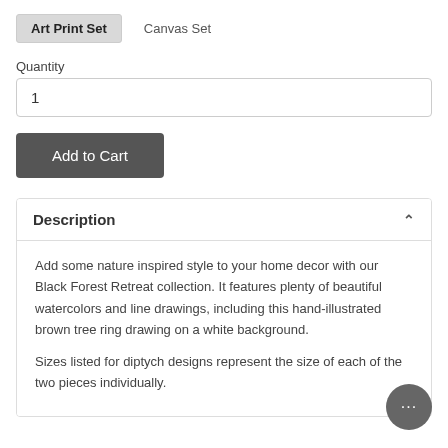Art Print Set   Canvas Set
Quantity
1
Add to Cart
Description
Add some nature inspired style to your home decor with our Black Forest Retreat collection. It features plenty of beautiful watercolors and line drawings, including this hand-illustrated brown tree ring drawing on a white background.
Sizes listed for diptych designs represent the size of each of the two pieces individually.